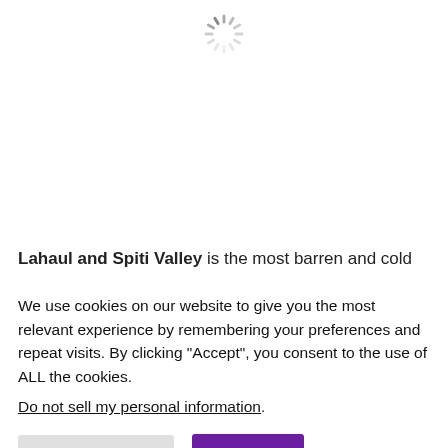[Figure (other): Loading spinner (circular dashed spinner icon) centered near top of page]
Lahaul and Spiti Valley is the most barren and cold
We use cookies on our website to give you the most relevant experience by remembering your preferences and repeat visits. By clicking “Accept”, you consent to the use of ALL the cookies.
Do not sell my personal information.
Cookie Settings
Accept